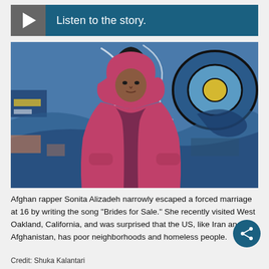[Figure (other): Audio player bar with play button and text 'Listen to the story.']
[Figure (photo): Young woman wearing a pink hoodie jacket standing in front of a colorful graffiti wall in blue, yellow and white tones.]
Afghan rapper Sonita Alizadeh narrowly escaped a forced marriage at 16 by writing the song "Brides for Sale." She recently visited West Oakland, California, and was surprised that the US, like Iran and Afghanistan, has poor neighborhoods and homeless people.
Credit: Shuka Kalantari